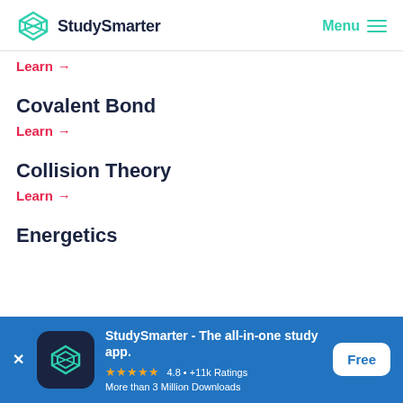StudySmarter | Menu
Learn →
Covalent Bond
Learn →
Collision Theory
Learn →
Energetics
StudySmarter - The all-in-one study app. ★★★★★ 4.8 • +11k Ratings More than 3 Million Downloads Free